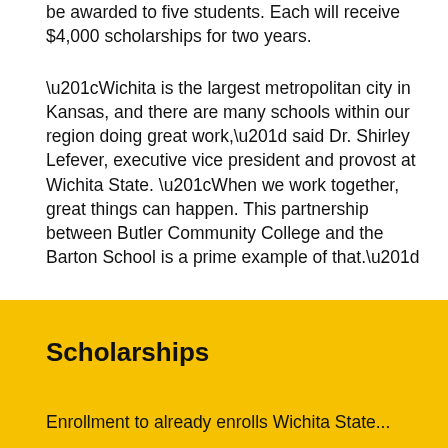be awarded to five students. Each will receive $4,000 scholarships for two years.
“Wichita is the largest metropolitan city in Kansas, and there are many schools within our region doing great work,” said Dr. Shirley Lefever, executive vice president and provost at Wichita State. “When we work together, great things can happen. This partnership between Butler Community College and the Barton School is a prime example of that.”
Enrollment for scholarships is now open. To learn more about enrolling, contact Caroline Beach, 316-978-7464 or caroline.beach@wichita.edu, or DeAnn Shimp, 316-323-6242 or dshimp@butlercc.edu.
Scholarships
Enrollment to already enrolls Wichita State...